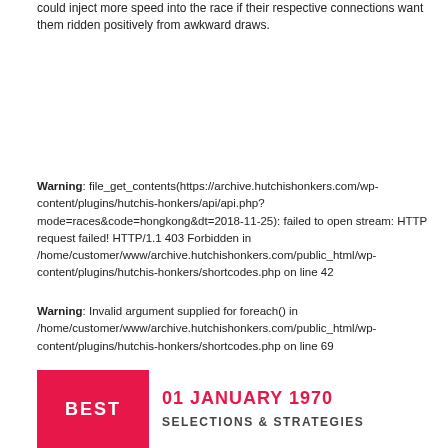could inject more speed into the race if their respective connections want them ridden positively from awkward draws.
Warning: file_get_contents(https://archive.hutchishonkers.com/wp-content/plugins/hutchis-honkers/api/api.php?mode=races&code=hongkong&dt=2018-11-25): failed to open stream: HTTP request failed! HTTP/1.1 403 Forbidden in /home/customer/www/archive.hutchishonkers.com/public_html/wp-content/plugins/hutchis-honkers/shortcodes.php on line 42
Warning: Invalid argument supplied for foreach() in /home/customer/www/archive.hutchishonkers.com/public_html/wp-content/plugins/hutchis-honkers/shortcodes.php on line 69
01 JANUARY 1970
SELECTIONS & STRATEGIES